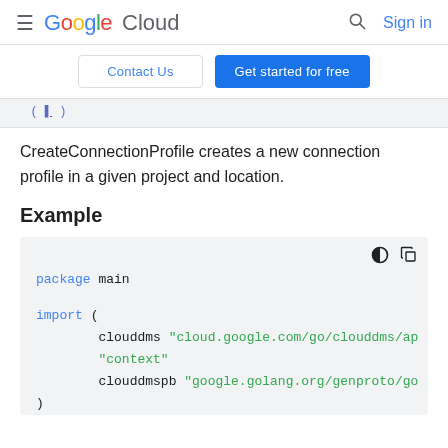Google Cloud  Sign in
Contact Us  Get started for free
CreateConnectionProfile creates a new connection profile in a given project and location.
Example
[Figure (screenshot): Code block showing Go code with: package main, import ( clouddms "cloud.google.com/go/clouddms/ap  "context"  clouddmspb "google.golang.org/genproto/go )]